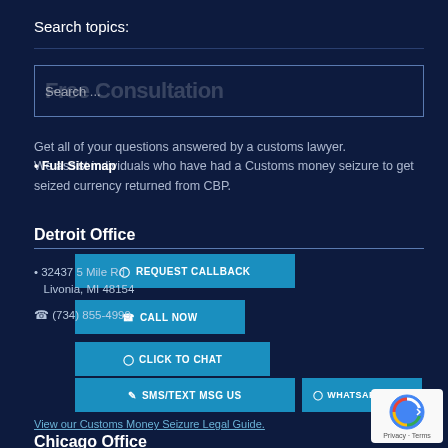Search topics:
Free Consultation / Search ...
• Full Sitemap
Get all of your questions answered by a customs lawyer. We assist individuals who have had a Customs money seizure to get seized currency returned from CBP.
Detroit Office
32437 5 Mile Rd
Livonia, MI 48154
(734) 855-4999
REQUEST CALLBACK
CALL NOW
CLICK TO CHAT
SMS/TEXT MSG US
WHATSAPP CHAT
View our Customs Money Seizure Legal Guide.
Chicago Office